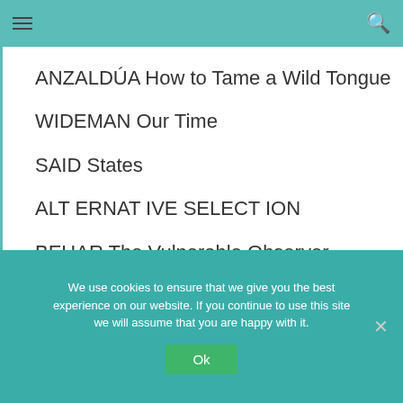≡  🔍
ANZALDÚA How to Tame a Wild Tongue
WIDEMAN Our Time
SAID States
ALT ERNAT IVE SELECT ION
BEHAR The Vulnerable Observer
We use cookies to ensure that we give you the best experience on our website. If you continue to use this site we will assume that you are happy with it.
Ok